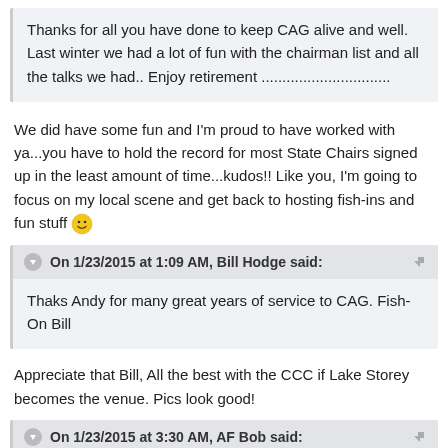Thanks for all you have done to keep CAG alive and well. Last winter we had a lot of fun with the chairman list and all the talks we had.. Enjoy retirement ...............................
We did have some fun and I'm proud to have worked with ya...you have to hold the record for most State Chairs signed up in the least amount of time...kudos!! Like you, I'm going to focus on my local scene and get back to hosting fish-ins and fun stuff 🙂
On 1/23/2015 at 1:09 AM, Bill Hodge said:
Thaks Andy for many great years of service to CAG. Fish-On Bill
Appreciate that Bill, All the best with the CCC if Lake Storey becomes the venue. Pics look good!
On 1/23/2015 at 3:30 AM, AF Bob said:
Since 2005 Andy has worked to improve our organization.